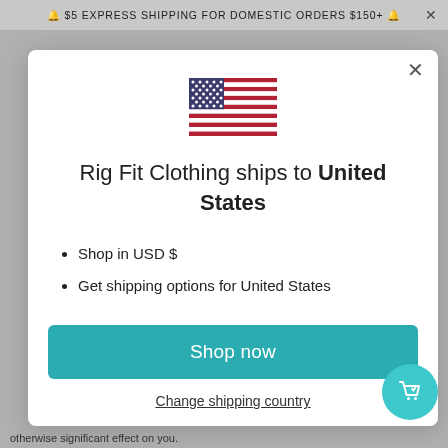🔔 $5 EXPRESS SHIPPING FOR DOMESTIC ORDERS $150+ 🔔  ×
[Figure (illustration): US flag emoji/icon centered in modal]
Rig Fit Clothing ships to United States
Shop in USD $
Get shipping options for United States
Shop now
Change shipping country
otherwise significant effect on you.